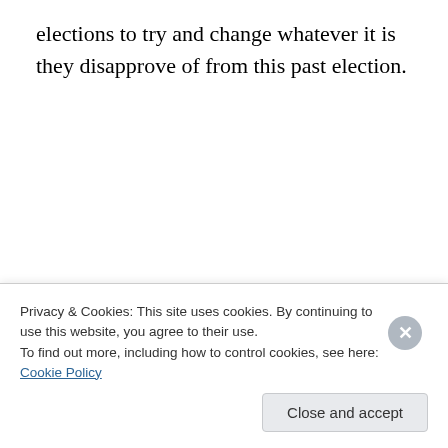elections to try and change whatever it is they disapprove of from this past election.
This is how the United States political system is supposed to function, you have an election, somebody wins and somebody loses and the losing side works harder the next
Privacy & Cookies: This site uses cookies. By continuing to use this website, you agree to their use.
To find out more, including how to control cookies, see here: Cookie Policy
Close and accept